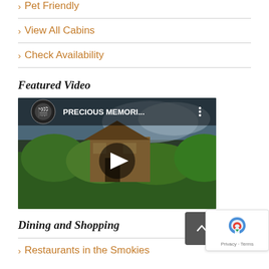> Pet Friendly
> View All Cabins
> Check Availability
Featured Video
[Figure (screenshot): YouTube video thumbnail showing a cabin in the Smoky Mountains surrounded by trees, titled PRECIOUS MEMORI...]
Dining and Shopping
> Restaurants in the Smokies